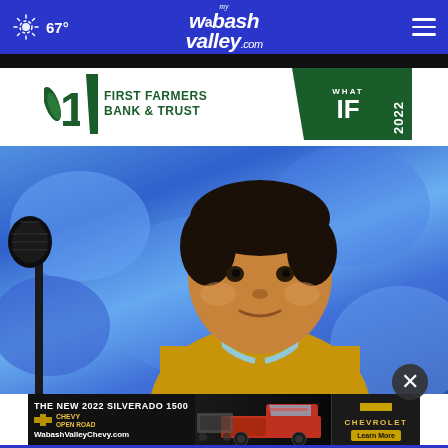67° mywabashvalley.com
[Figure (photo): Advertisement banner for First Farmers Bank & Trust with 'What IF 2022' panel]
[Figure (photo): Young boy at spelling bee microphone, looking to his right, wearing a yellow shirt and light blue lanyard/medal, against a blue background]
[Figure (photo): Advertisement for The New 2022 Silverado 1500 by Chevrolet. Chevy Open Road logo. WabashValleyChevy.com. Learn More button.]